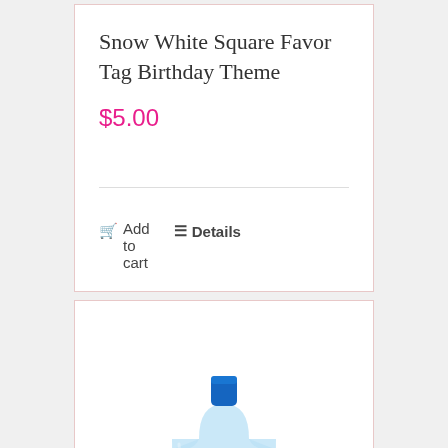Snow White Square Favor Tag Birthday Theme
$5.00
Add to cart
Details
[Figure (photo): Water bottle with Snow White themed label/wrapper showing Snow White character design on dark purple background]
Snow White